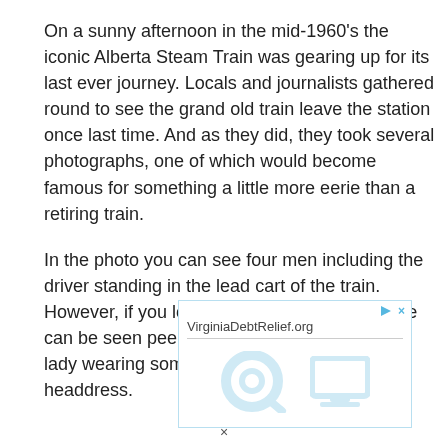On a sunny afternoon in the mid-1960's the iconic Alberta Steam Train was gearing up for its last ever journey. Locals and journalists gathered round to see the grand old train leave the station once last time. And as they did, they took several photographs, one of which would become famous for something a little more eerie than a retiring train.
In the photo you can see four men including the driver standing in the lead cart of the train. However, if you look in the right window, a face can be seen peering out. It looks to be an old lady wearing some kind of ornamental headdress.
[Figure (other): Advertisement banner for VirginiaDebtRelief.org with play and close controls, a horizontal divider, and faint graphic icons of a magnifying glass and a monitor/TV.]
×